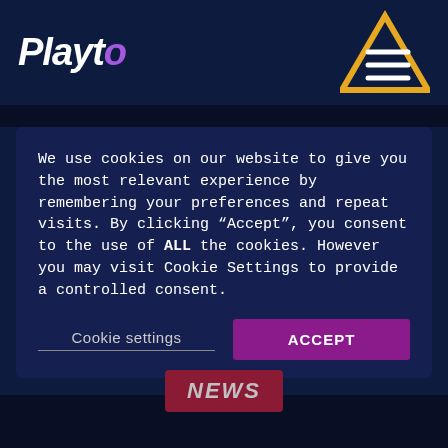Playto
[Figure (logo): Playto logo with triangle menu icon in orange/yellow]
We use cookies on our website to give you the most relevant experience by remembering your preferences and repeat visits. By clicking “Accept”, you consent to the use of ALL the cookies. However you may visit Cookie Settings to provide a controlled consent.
Cookie settings
ACCEPT
NEWS